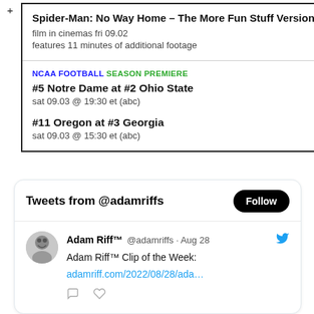Spider-Man: No Way Home – The More Fun Stuff Version
film in cinemas fri 09.02
features 11 minutes of additional footage
NCAA FOOTBALL SEASON PREMIERE
#5 Notre Dame at #2 Ohio State
sat 09.03 @ 19:30 et (abc)

#11 Oregon at #3 Georgia
sat 09.03 @ 15:30 et (abc)
Tweets from @adamriffs
Adam Riff™ @adamriffs · Aug 28
Adam Riff™ Clip of the Week:
adamriff.com/2022/08/28/ada…